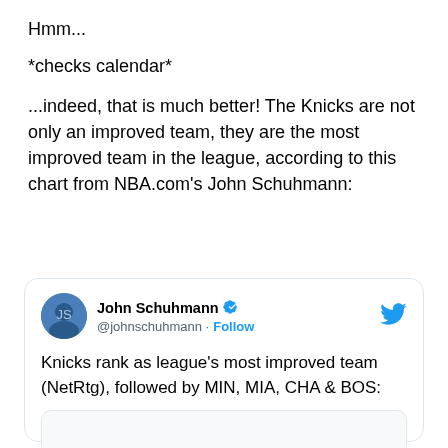Hmm...
*checks calendar*
...indeed, that is much better! The Knicks are not only an improved team, they are the most improved team in the league, according to this chart from NBA.com's John Schuhmann:
[Figure (screenshot): Embedded tweet from John Schuhmann (@johnschuhmann) with blue verified badge and Twitter bird logo. Tweet text: 'Knicks rank as league's most improved team (NetRtg), followed by MIN, MIA, CHA & BOS:' with a partially visible image below.]